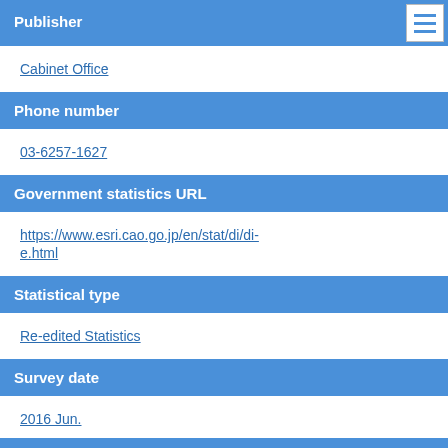Publisher
Cabinet Office
Phone number
03-6257-1627
Government statistics URL
https://www.esri.cao.go.jp/en/stat/di/di-e.html
Statistical type
Re-edited Statistics
Survey date
2016 Jun.